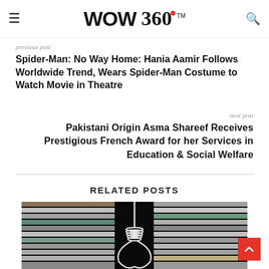WOW 360™
previous post
Spider-Man: No Way Home: Hania Aamir Follows Worldwide Trend, Wears Spider-Man Costume to Watch Movie in Theatre
next post
Pakistani Origin Asma Shareef Receives Prestigious French Award for her Services in Education & Social Welfare
RELATED POSTS
[Figure (photo): Dark image showing a hangman's noose made of white rope against a black background, with rows of colorful books visible on both sides.]